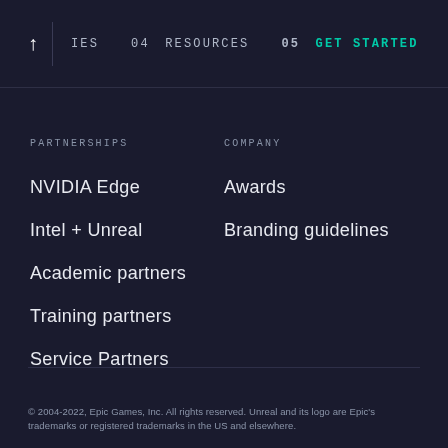↑ IES  04 RESOURCES  05 GET STARTED
PARTNERSHIPS
NVIDIA Edge
Intel + Unreal
Academic partners
Training partners
Service Partners
COMPANY
Awards
Branding guidelines
© 2004-2022, Epic Games, Inc. All rights reserved. Unreal and its logo are Epic's trademarks or registered trademarks in the US and elsewhere.